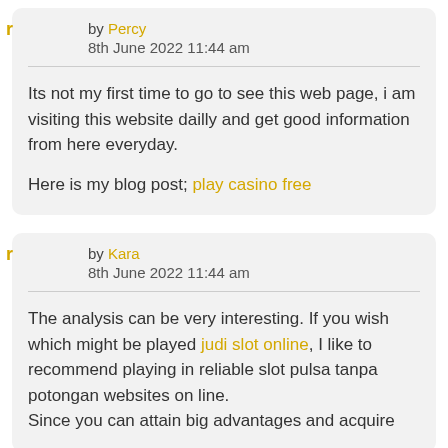by Percy
8th June 2022  11:44 am
Its not my first time to go to see this web page, i am visiting this website dailly and get good information from here everyday.

Here is my blog post; play casino free
by Kara
8th June 2022  11:44 am
The analysis can be very interesting. If you wish which might be played judi slot online, I like to recommend playing in reliable slot pulsa tanpa potongan websites on line.
Since you can attain big advantages and acquire